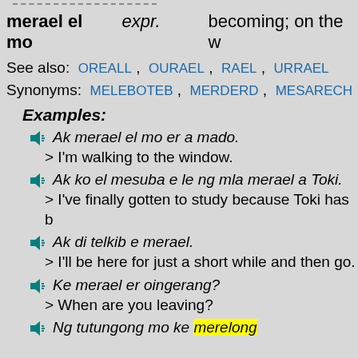merael el mo   expr.   becoming; on the w
See also:  OREALL , OURAEL , RAEL , URRAEL
Synonyms:  MELEBOTEB , MERDERD , MESARECH ,
Examples:
Ak merael el mo er a mado.
> I'm walking to the window.
Ak ko el mesuba e le ng mla merael a Toki.
> I've finally gotten to study because Toki has b
Ak di telkib e merael.
> I'll be here for just a short while and then go.
Ke merael er oingerang?
> When are you leaving?
Ng tutungong mo ke merelong